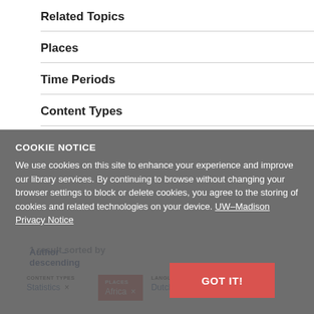Related Topics
Places
Time Periods
Content Types
COOKIE NOTICE
We use cookies on this site to enhance your experience and improve our library services. By continuing to browse without changing your browser settings to block or delete cookies, you agree to the storing of cookies and related technologies on your device. UW–Madison Privacy Notice
1 result sorted by
Author – descending
GOT IT!
CONTENT TYPES: Statistics ×
PLACES: Africa ×
LANGUAGES: Dutch ×